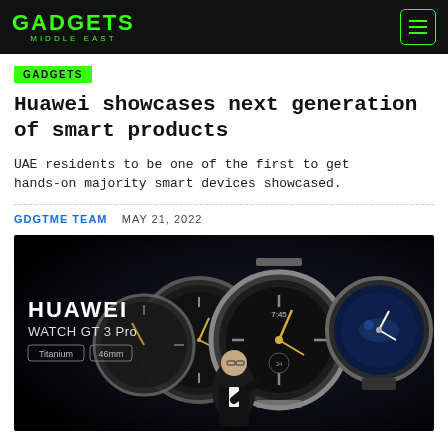GADGETS MIDDLE EAST
GADGETS
Huawei showcases next generation of smart products
UAE residents to be one of the first to get hands-on majority smart devices showcased.
GDGTME TEAM   MAY 21, 2022
[Figure (photo): Huawei Watch GT 3 Pro Titanium 46mm promotional image showing three smartwatches and a presenter, dark background with HUAWEI WATCH GT 3 Pro text and Titanium / 46mm labels.]